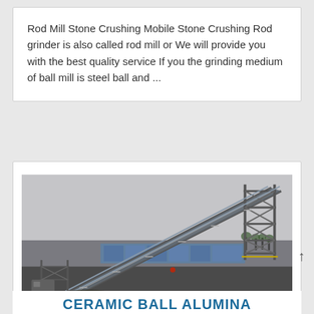Rod Mill Stone Crushing Mobile Stone Crushing Rod grinder is also called rod mill or We will provide you with the best quality service If you the grinding medium of ball mill is steel ball and ...
[Figure (photo): Industrial conveyor belt structure on a construction/mining site, showing a large steel frame conveyor inclined at an angle with support scaffolding, taken outdoors with overcast sky and industrial buildings in background.]
CERAMIC BALL ALUMINA